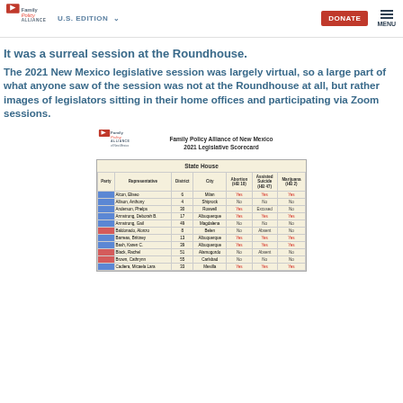Family Policy Alliance | U.S. EDITION | DONATE | MENU
It was a surreal session at the Roundhouse.
The 2021 New Mexico legislative session was largely virtual, so a large part of what anyone saw of the session was not at the Roundhouse at all, but rather images of legislators sitting in their home offices and participating via Zoom sessions.
[Figure (table-as-image): Family Policy Alliance of New Mexico 2021 Legislative Scorecard showing State House representatives with columns for Party, Representative, District, City, Abortion (HB 10), Assisted Suicide (HB 47), and Marijuana (HB 2). Rows show legislators including Alcon, Eliseo; Allison, Anthony; Anderson, Phelps; Armstrong, Deborah B.; Armstrong, Gail; Baldonado, Alonzo; Barreas, Brittney; Bash, Karen C.; Black, Rachel; Brown, Cathrynn; Cadiera, Micaela Lara with their votes recorded as Yes, No, Excused, or Absent in red or dark text.]